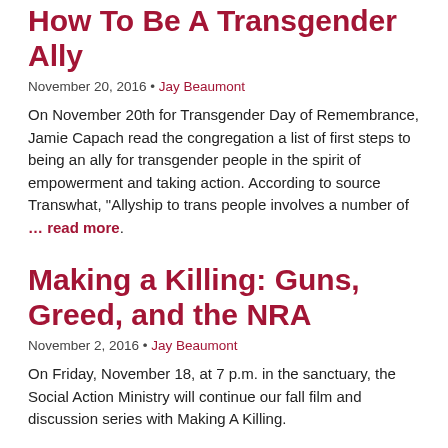How To Be A Transgender Ally
November 20, 2016 • Jay Beaumont
On November 20th for Transgender Day of Remembrance, Jamie Capach read the congregation a list of first steps to being an ally for transgender people in the spirit of empowerment and taking action. According to source Transwhat, “Allyship to trans people involves a number of … read more.
Making a Killing: Guns, Greed, and the NRA
November 2, 2016 • Jay Beaumont
On Friday, November 18, at 7 p.m. in the sanctuary, the Social Action Ministry will continue our fall film and discussion series with Making A Killing.